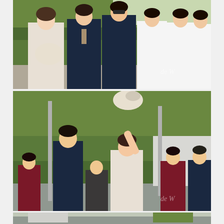[Figure (photo): Wedding group photo: bride in white dress holding bouquet standing with groom and three groomsmen in navy suits, outdoors with greenery background. Watermark 'de W' visible.]
[Figure (photo): Bride tossing bouquet into the air outdoors, groom watching, bridesmaids in burgundy dresses and other guests in background. Watermark 'de W' visible.]
[Figure (photo): Partial view of third wedding photo showing outdoor venue with architectural structures and greenery.]